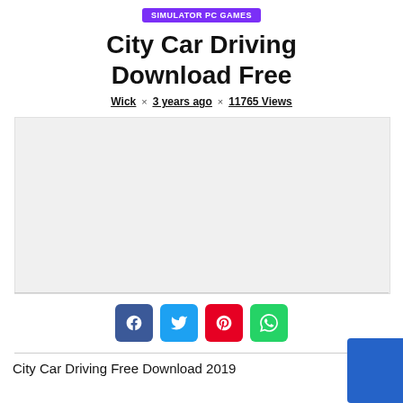SIMULATOR PC GAMES
City Car Driving Download Free
Wick × 3 years ago × 11765 Views
[Figure (other): Gray advertisement placeholder box]
[Figure (other): Social share buttons: Facebook, Twitter, Pinterest, WhatsApp]
City Car Driving Free Download 2019